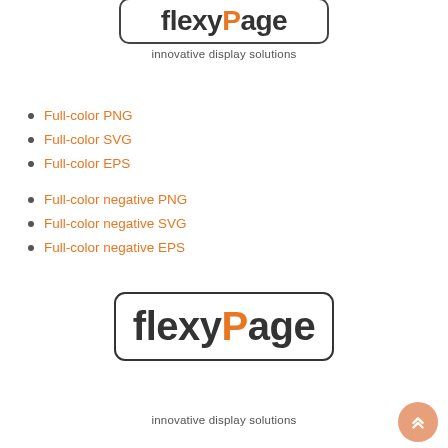[Figure (logo): flexyPage logo — word 'flexy' in dark grey and 'P' + 'age' with orange P, inside rounded rectangle border, partial top crop]
innovative display solutions
Full-color PNG
Full-color SVG
Full-color EPS
Full-color negative PNG
Full-color negative SVG
Full-color negative EPS
[Figure (logo): flexyPage logo — word 'flexy' in dark grey and 'P' + 'age' with orange P, inside rounded rectangle border, full size]
innovative display solutions